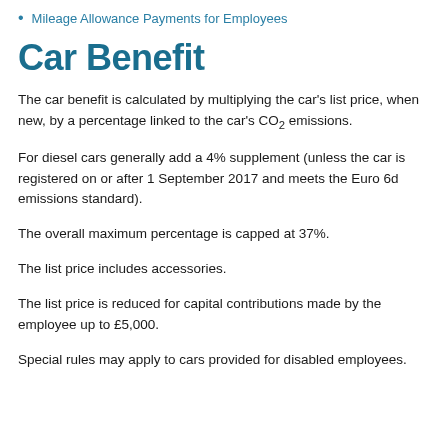Mileage Allowance Payments for Employees
Car Benefit
The car benefit is calculated by multiplying the car's list price, when new, by a percentage linked to the car's CO₂ emissions.
For diesel cars generally add a 4% supplement (unless the car is registered on or after 1 September 2017 and meets the Euro 6d emissions standard).
The overall maximum percentage is capped at 37%.
The list price includes accessories.
The list price is reduced for capital contributions made by the employee up to £5,000.
Special rules may apply to cars provided for disabled employees.